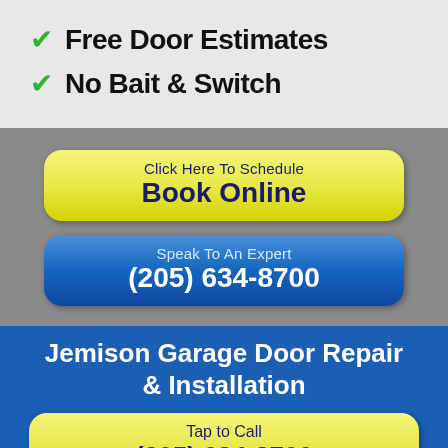✓ Free Door Estimates
✓ No Bait & Switch
[Figure (infographic): Yellow rounded button: 'Click Here To Schedule / Book Online']
[Figure (infographic): Blue rounded button: 'Speak To An Expert / (205) 634-8700']
Jemison Garage Door Repair & Installation
[Figure (infographic): Yellow rounded button: 'Tap to Call / (205) 634-8700']